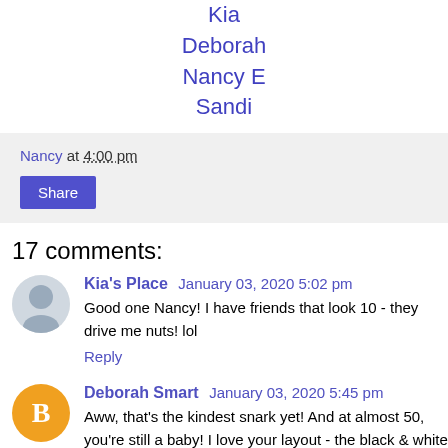Kia
Deborah
Nancy E
Sandi
Nancy at 4:00 pm
Share
17 comments:
Kia's Place  January 03, 2020 5:02 pm
Good one Nancy! I have friends that look 10 - they drive me nuts! lol
Reply
Deborah Smart  January 03, 2020 5:45 pm
Aww, that's the kindest snark yet! And at almost 50, you're still a baby! I love your layout - the black & white